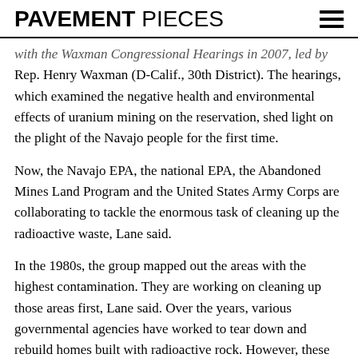PAVEMENT PIECES
with the Waxman Congressional Hearings in 2007, led by Rep. Henry Waxman (D-Calif., 30th District). The hearings, which examined the negative health and environmental effects of uranium mining on the reservation, shed light on the plight of the Navajo people for the first time.
Now, the Navajo EPA, the national EPA, the Abandoned Mines Land Program and the United States Army Corps are collaborating to tackle the enormous task of cleaning up the radioactive waste, Lane said.
In the 1980s, the group mapped out the areas with the highest contamination. They are working on cleaning up those areas first, Lane said. Over the years, various governmental agencies have worked to tear down and rebuild homes built with radioactive rock. However, these